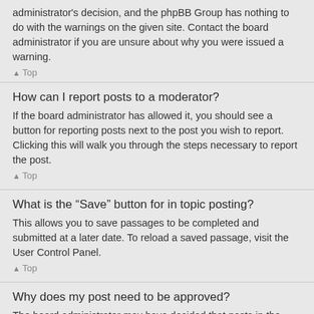administrator's decision, and the phpBB Group has nothing to do with the warnings on the given site. Contact the board administrator if you are unsure about why you were issued a warning.
▲ Top
How can I report posts to a moderator?
If the board administrator has allowed it, you should see a button for reporting posts next to the post you wish to report. Clicking this will walk you through the steps necessary to report the post.
▲ Top
What is the “Save” button for in topic posting?
This allows you to save passages to be completed and submitted at a later date. To reload a saved passage, visit the User Control Panel.
▲ Top
Why does my post need to be approved?
The board administrator may have decided that posts in the forum you are posting to require review before submission; it is also possible that the